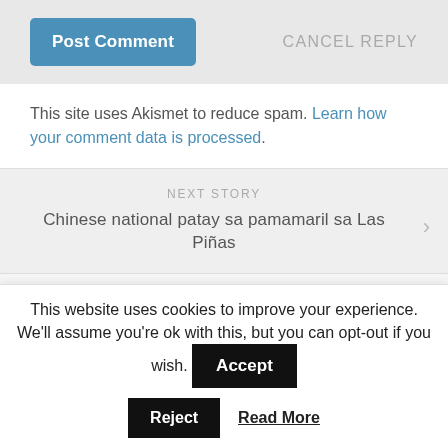[Figure (screenshot): Post Comment button (blue) on the left and CANCEL REPLY text on the right, on a grey background bar]
This site uses Akismet to reduce spam. Learn how your comment data is processed.
NEXT STORY
Chinese national patay sa pamamaril sa Las Piñas
PREVIOUS STORY
Number Coding along Commerce Ave. to resume SOON to
This website uses cookies to improve your experience. We'll assume you're ok with this, but you can opt-out if you wish.
Accept
Reject
Read More